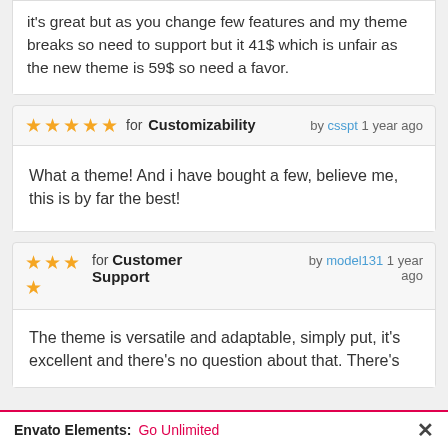it's great but as you change few features and my theme breaks so need to support but it 41$ which is unfair as the new theme is 59$ so need a favor.
★★★★★ for Customizability by csspt 1 year ago
What a theme! And i have bought a few, believe me, this is by far the best!
★★★★ for Customer Support by model131 1 year ago
The theme is versatile and adaptable, simply put, it's excellent and there's no question about that. There's
Envato Elements: Go Unlimited ×